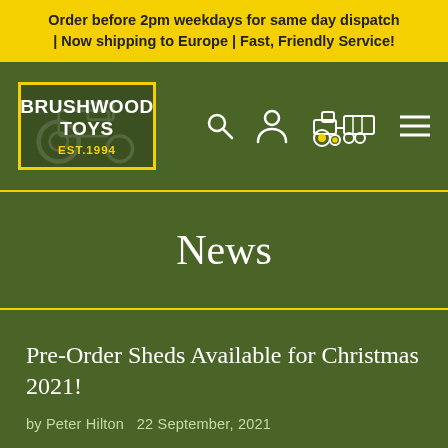Order before 2pm weekdays for same day dispatch | Now shipping to Europe | Fast, Friendly Service!
[Figure (logo): Brushwood Toys logo with yellow border, white text 'BRUSHWOOD TOYS' and yellow 'EST.1994' on dark green background, with navigation icons: search, user, tractor with trailer, hamburger menu]
News
Pre-Order Sheds Available for Christmas 2021!
by Peter Hilton   22 September, 2021